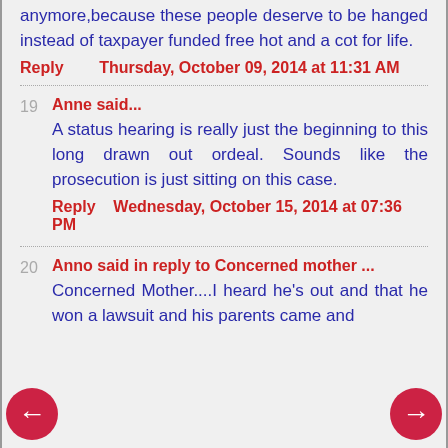anymore,because these people deserve to be hanged instead of taxpayer funded free hot and a cot for life.
Reply   Thursday, October 09, 2014 at 11:31 AM
19  Anne said...
A status hearing is really just the beginning to this long drawn out ordeal. Sounds like the prosecution is just sitting on this case.
Reply   Wednesday, October 15, 2014 at 07:36 PM
20  Anno said in reply to Concerned mother ...
Concerned Mother....I heard he's out and that he won a lawsuit and his parents came and